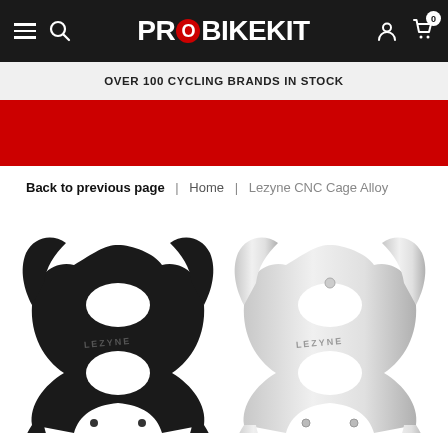PROBIKEKIT — OVER 100 CYCLING BRANDS IN STOCK
Back to previous page | Home | Lezyne CNC Cage Alloy
[Figure (photo): Two Lezyne CNC Cage Alloy bottle cages side by side — left one in matte black, right one in silver/polished alloy. Both show the curvilinear skeletal design with LEZYNE branding.]